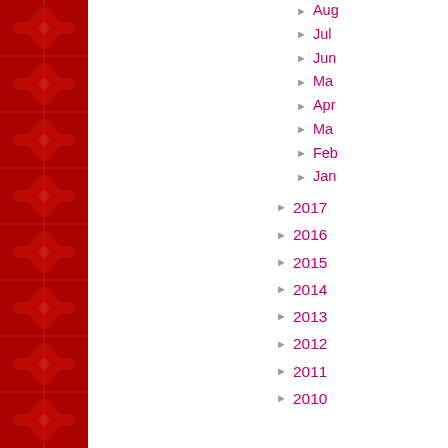[Figure (illustration): Red ornate floral/damask patterned sidebar on the left edge of the page]
► August
► July
► June
► May
► April
► March
► February
► January
► 2017
► 2016
► 2015
► 2014
► 2013
► 2012
► 2011
► 2010